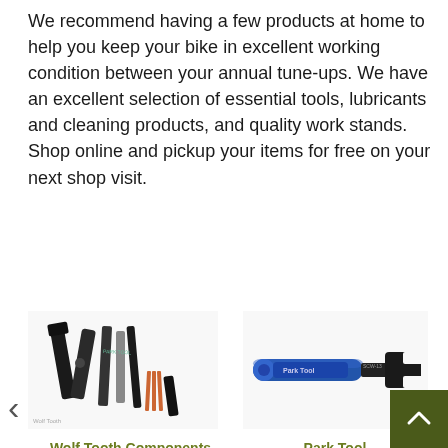We recommend having a few products at home to help you keep your bike in excellent working condition between your annual tune-ups. We have an excellent selection of essential tools, lubricants and cleaning products, and quality work stands. Shop online and pickup your items for free on your next shop visit.
[Figure (photo): Wolf Tooth Components 8-Bit Plier + Chainbreaker + Tire Lever Kit product image showing multi-tool bicycle pliers, chain breaker, and tire levers]
Wolf Tooth Components 8-Bit Plier + Chainbreaker + Tire Lever Kit
$139.95
[Figure (photo): Park Tool Shop Cone Wrench product image showing a blue-handled wrench tool]
Park Tool Shop Cone Wrench
$9.95